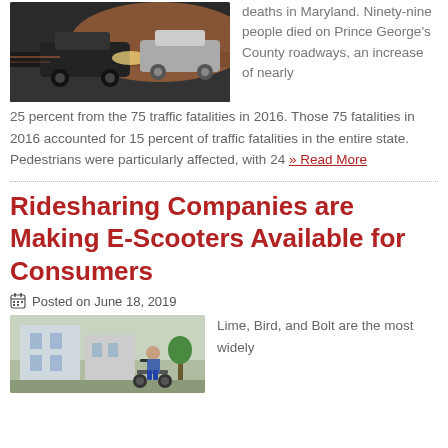[Figure (photo): Cars in motion at night, blurred traffic scene]
deaths in Maryland. Ninety-nine people died on Prince George's County roadways, an increase of nearly 25 percent from the 75 traffic fatalities in 2016. Those 75 fatalities in 2016 accounted for 15 percent of traffic fatalities in the entire state. Pedestrians were particularly affected, with 24 » Read More
Ridesharing Companies are Making E-Scooters Available for Consumers
Posted on June 18, 2019
[Figure (photo): Person riding an e-scooter on a city street]
Lime, Bird, and Bolt are the most widely